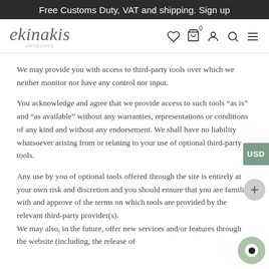Free Customs Duty, VAT and shipping. Sign up
[Figure (logo): ekinakis logo with cursive script and subtitle text]
We may provide you with access to third-party tools over which we neither monitor nor have any control nor input.
You acknowledge and agree that we provide access to such tools "as is" and "as available" without any warranties, representations or conditions of any kind and without any endorsement. We shall have no liability whatsoever arising from or relating to your use of optional third-party tools.
Any use by you of optional tools offered through the site is entirely at your own risk and discretion and you should ensure that you are familiar with and approve of the terms on which tools are provided by the relevant third-party provider(s).
We may also, in the future, offer new services and/or features through the website (including, the release of